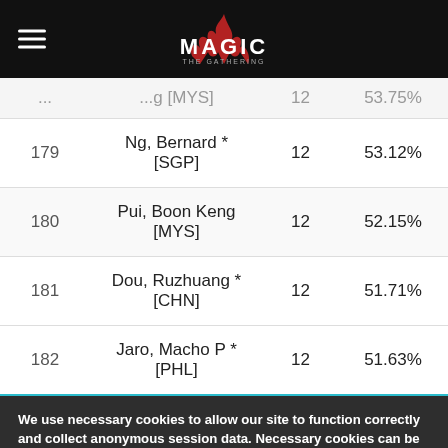Magic: The Gathering - standings table header with hamburger menu and logo
| Rank | Player | Points | OMW% |
| --- | --- | --- | --- |
| ... | ... [MYS] | 12 | 53.75% |
| 179 | Ng, Bernard * [SGP] | 12 | 53.12% |
| 180 | Pui, Boon Keng [MYS] | 12 | 52.15% |
| 181 | Dou, Ruzhuang * [CHN] | 12 | 51.71% |
| 182 | Jaro, Macho P * [PHL] | 12 | 51.63% |
We use necessary cookies to allow our site to function correctly and collect anonymous session data. Necessary cookies can be opted out through your browser settings. We also use optional cookies to personalize content and ads, provide social medial features and analyze web traffic. By clicking “OK, I agree,” you consent to optional cookies. (Learn more about cookies.)
OK, I agree    No, thanks